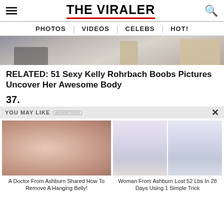THE VIRALER
PHOTOS | VIDEOS | CELEBS | HOT!
[Figure (photo): Cropped image showing high heels and shoes at the bottom of the frame, against a sofa/floor background]
RELATED: 51 Sexy Kelly Rohrbach Boobs Pictures Uncover Her Awesome Body
37.
YOU MAY LIKE  ADVERTISER  X
[Figure (photo): A person's bare belly/abdomen, plus background tattoo elements]
A Doctor From Ashburn Shared How To Remove A Hanging Belly!
[Figure (photo): Two women side by side wearing white and blue dresses — before and after weight loss image]
Woman From Ashburn Lost 52 Lbs In 28 Days Using 1 Simple Trick